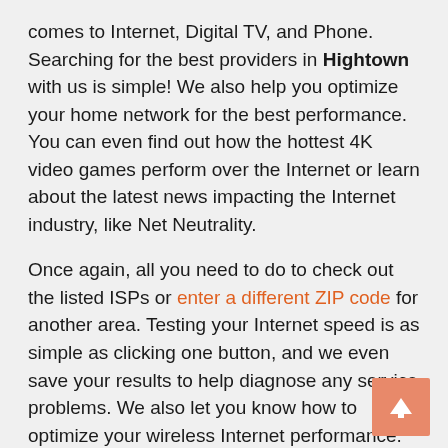comes to Internet, Digital TV, and Phone. Searching for the best providers in Hightown with us is simple! We also help you optimize your home network for the best performance. You can even find out how the hottest 4K video games perform over the Internet or learn about the latest news impacting the Internet industry, like Net Neutrality.
Once again, all you need to do to check out the listed ISPs or enter a different ZIP code for another area. Testing your Internet speed is as simple as clicking one button, and we even save your results to help diagnose any service problems. We also let you know how to optimize your wireless Internet performance. We know all about fiber Internet, how to find a phone plan with unlimited data, and more. Get the most out of your Internet access without data caps!